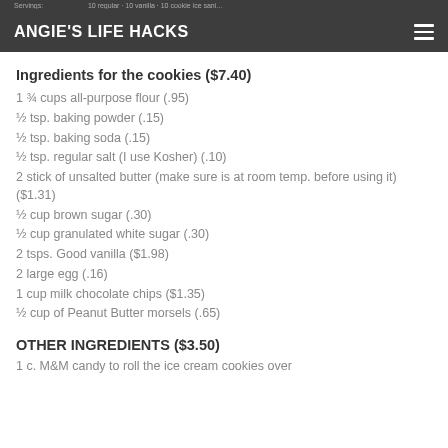ANGIE'S LIFE HACKS
Ingredients for the cookies ($7.40)
1 ¾ cups all-purpose flour (.95)
½ tsp. baking powder (.15)
½ tsp. baking soda (.15)
½ tsp. regular salt (I use Kosher) (.10)
2 stick of unsalted butter (make sure is at room temp. before using it) ($1.31)
½ cup brown sugar (.30)
½ cup granulated white sugar (.30)
2 tsps. Good vanilla ($1.98)
2 large egg (.16)
1 cup milk chocolate chips ($1.35)
½ cup of Peanut Butter morsels (.65)
OTHER INGREDIENTS ($3.50)
1 c. M&M candy to roll the ice cream cookies over